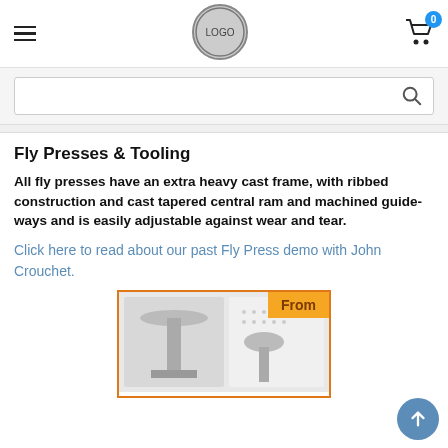Navigation header with hamburger menu, company logo, and shopping cart (0 items)
[Figure (screenshot): Search bar with magnifying glass icon on grey background]
Fly Presses & Tooling
All fly presses have an extra heavy cast frame, with ribbed construction and cast tapered central ram and machined guide-ways and is easily adjustable against wear and tear.
Click here to read about our past Fly Press demo with John Crouchet.
[Figure (photo): Product card with orange border showing 'From' badge and photo of fly press components]